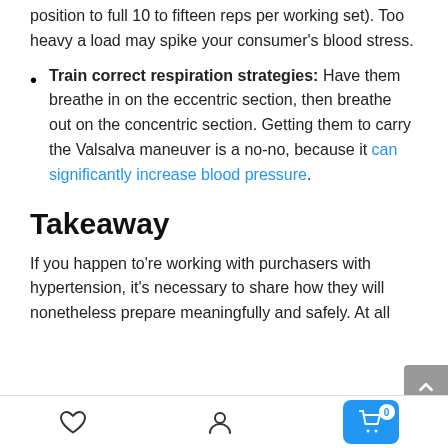position to full 10 to fifteen reps per working set). Too heavy a load may spike your consumer's blood stress.
Train correct respiration strategies: Have them breathe in on the eccentric section, then breathe out on the concentric section. Getting them to carry the Valsalva maneuver is a no-no, because it can significantly increase blood pressure.
Takeaway
If you happen to're working with purchasers with hypertension, it's necessary to share how they will nonetheless prepare meaningfully and safely. At all